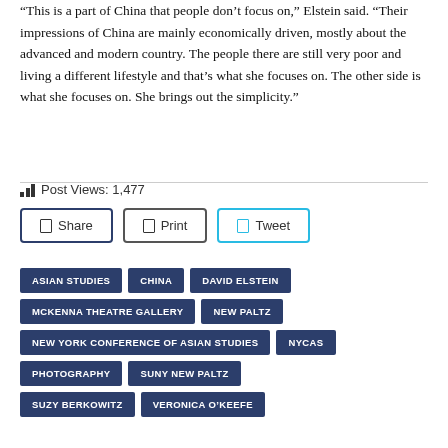“This is a part of China that people don’t focus on,” Elstein said. “Their impressions of China are mainly economically driven, mostly about the advanced and modern country. The people there are still very poor and living a different lifestyle and that’s what she focuses on. The other side is what she focuses on. She brings out the simplicity.”
Post Views: 1,477
Share
Print
Tweet
ASIAN STUDIES
CHINA
DAVID ELSTEIN
MCKENNA THEATRE GALLERY
NEW PALTZ
NEW YORK CONFERENCE OF ASIAN STUDIES
NYCAS
PHOTOGRAPHY
SUNY NEW PALTZ
SUZY BERKOWITZ
VERONICA O’KEEFE